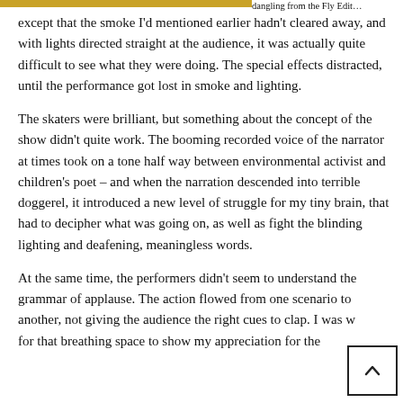dangling from the Fly Edit...
except that the smoke I'd mentioned earlier hadn't cleared away, and with lights directed straight at the audience, it was actually quite difficult to see what they were doing. The special effects distracted, until the performance got lost in smoke and lighting.
The skaters were brilliant, but something about the concept of the show didn't quite work. The booming recorded voice of the narrator at times took on a tone half way between environmental activist and children's poet – and when the narration descended into terrible doggerel, it introduced a new level of struggle for my tiny brain, that had to decipher what was going on, as well as fight the blinding lighting and deafening, meaningless words.
At the same time, the performers didn't seem to understand the grammar of applause. The action flowed from one scenario to another, not giving the audience the right cues to clap. I was w... for that breathing space to show my appreciation for the